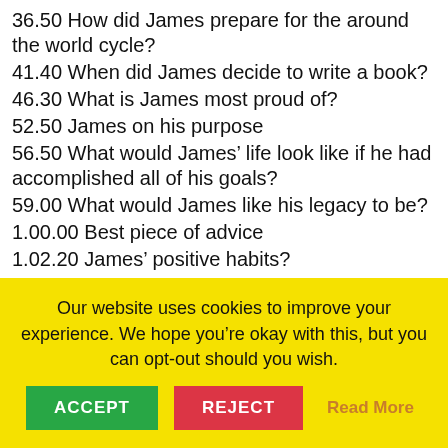36.50 How did James prepare for the around the world cycle?
41.40 When did James decide to write a book?
46.30 What is James most proud of?
52.50 James on his purpose
56.50 What would James’ life look like if he had accomplished all of his goals?
59.00 What would James like his legacy to be?
1.00.00 Best piece of advice
1.02.20 James’ positive habits?
1.05.30 Who inspires James?
1.08.00 What is the biggest obstacle James has
Our website uses cookies to improve your experience. We hope you’re okay with this, but you can opt-out should you wish.